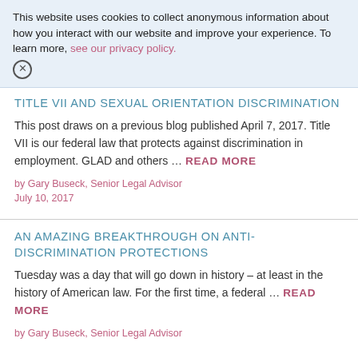This website uses cookies to collect anonymous information about how you interact with our website and improve your experience. To learn more, see our privacy policy.
TITLE VII AND SEXUAL ORIENTATION DISCRIMINATION
This post draws on a previous blog published April 7, 2017. Title VII is our federal law that protects against discrimination in employment. GLAD and others … READ MORE
by Gary Buseck, Senior Legal Advisor
July 10, 2017
AN AMAZING BREAKTHROUGH ON ANTI-DISCRIMINATION PROTECTIONS
Tuesday was a day that will go down in history – at least in the history of American law. For the first time, a federal … READ MORE
by Gary Buseck, Senior Legal Advisor